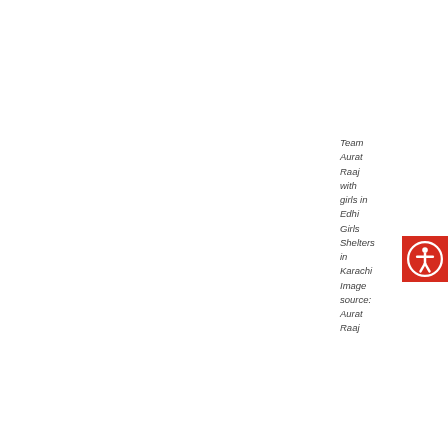Team Aurat Raaj with girls in Edhi Girls Shelters in Karachi Image source: Aurat Raaj
[Figure (other): Red accessibility icon button (person with circle outline) in top right area]
[Figure (other): Red 'Leave us a tip' button on right side]
AS: Your mission mentions that you want to entertain and educate. How do you strike that balance between education and entertainment?